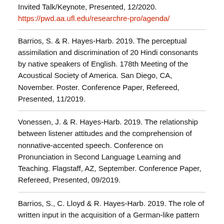Invited Talk/Keynote, Presented, 12/2020.
https://pwd.aa.ufl.edu/researchre-pro/agenda/
Barrios, S. & R. Hayes-Harb. 2019. The perceptual assimilation and discrimination of 20 Hindi consonants by native speakers of English. 178th Meeting of the Acoustical Society of America. San Diego, CA, November. Poster. Conference Paper, Refereed, Presented, 11/2019.
Vonessen, J. & R. Hayes-Harb. 2019. The relationship between listener attitudes and the comprehension of nonnative-accented speech. Conference on Pronunciation in Second Language Learning and Teaching. Flagstaff, AZ, September. Conference Paper, Refereed, Presented, 09/2019.
Barrios, S., C. Lloyd & R. Hayes-Harb. 2019. The role of written input in the acquisition of a German-like pattern